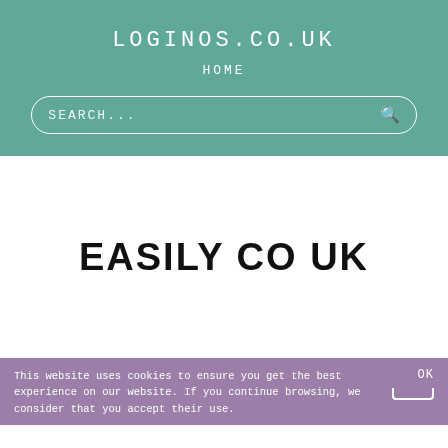LOGINOS.CO.UK
HOME
SEARCH...
EASILY CO UK
This website uses cookies to ensure you get the best experience on our website. If you continue browsing, we consider that you accept their use.
OK